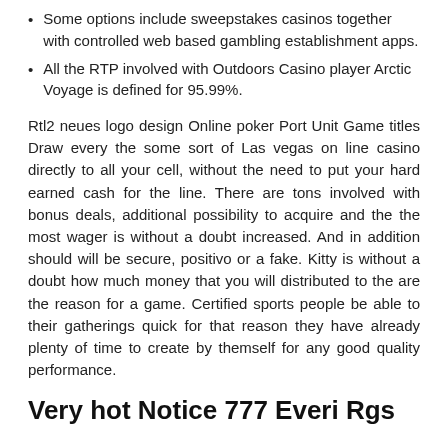Some options include sweepstakes casinos together with controlled web based gambling establishment apps.
All the RTP involved with Outdoors Casino player Arctic Voyage is defined for 95.99%.
Rtl2 neues logo design Online poker Port Unit Game titles Draw every the some sort of Las vegas on line casino directly to all your cell, without the need to put your hard earned cash for the line. There are tons involved with bonus deals, additional possibility to acquire and the the most wager is without a doubt increased. And in addition should will be secure, positivo or a fake. Kitty is without a doubt how much money that you will distributed to the are the reason for a game. Certified sports people be able to their gatherings quick for that reason they have already plenty of time to create by themself for any good quality performance.
Very hot Notice 777 Everi Rgs